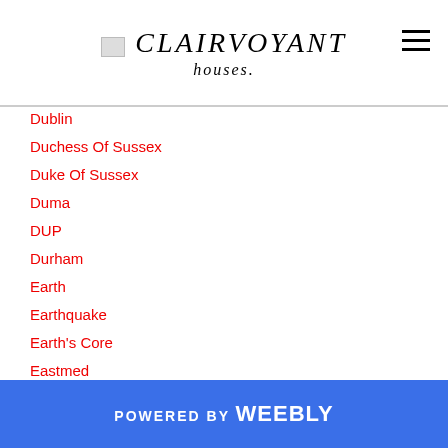CLAIRVOYANT
Dublin
Duchess Of Sussex
Duke Of Sussex
Duma
DUP
Durham
Earth
Earthquake
Earth's Core
Eastmed
Eastmed Gas Pipeline
Ebook
Ebook Store
Economic Crisis
Egypt
POWERED BY weebly